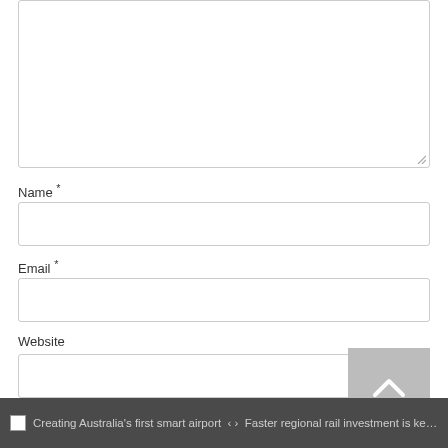[Figure (screenshot): A web form textarea with resize handle at bottom-right, partially visible at top of page]
Name *
[Figure (screenshot): Name input text field, empty]
Email *
[Figure (screenshot): Email input text field, empty]
Website
[Figure (screenshot): Website input text field, empty, with back-to-top button overlaid at right]
Creating Australia's first smart airport  < >  Faster regional rail investment is key to …